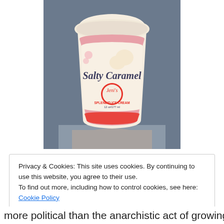[Figure (photo): A hand holding a small white cup of 'Salty Caramel' branded ice cream with a pink label and a circular logo reading 'Jeni's Splendid Ice Cream']
Privacy & Cookies: This site uses cookies. By continuing to use this website, you agree to their use.
To find out more, including how to control cookies, see here: Cookie Policy
Close and accept
more political than the anarchistic act of growing food in